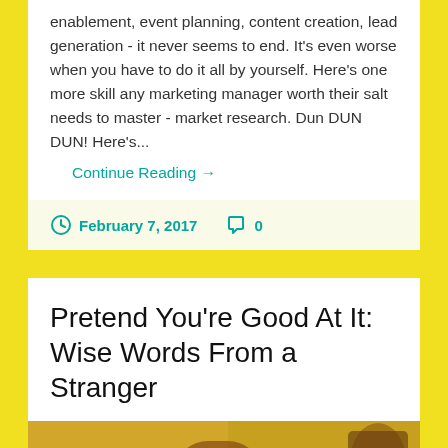enablement, event planning, content creation, lead generation - it never seems to end.  It's even worse when you have to do it all by yourself.  Here's one more skill any marketing manager worth their salt needs to master - market research.  Dun DUN DUN!  Here's...
Continue Reading →
February 7, 2017   0
Pretend You're Good At It: Wise Words From a Stranger
[Figure (photo): Partial image visible at bottom of page showing a warm golden/brown textured background, appears to be a decorative or editorial photo.]